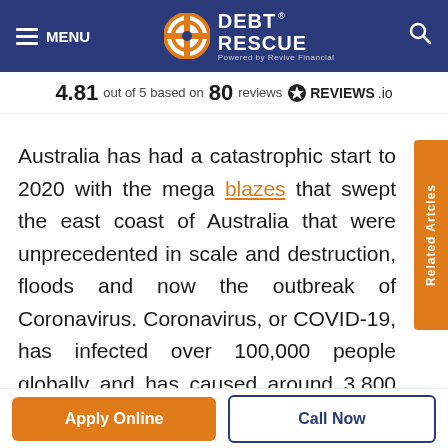DEBT RESCUE - Powered by Revive Financial
4.81 out of 5 based on 80 reviews ★REVIEWS.io
Australia has had a catastrophic start to 2020 with the mega blazes that swept the east coast of Australia that were unprecedented in scale and destruction, floods and now the outbreak of Coronavirus. Coronavirus, or COVID-19, has infected over 100,000 people globally and has caused around 3,800 deaths with these numbers continually growing. To provide a clearer picture of the situation, the London School of
Related Articles
Apply Online
Call Now